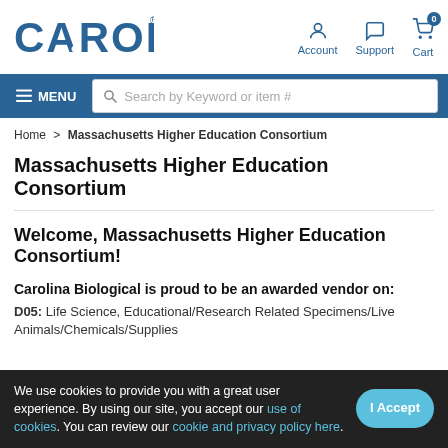[Figure (logo): Carolina Biological Supply Company logo in bold blue uppercase letters]
Account  Support  Cart 0
[Figure (screenshot): Navigation bar with hamburger menu icon and search bar: Search by Keyword or item #]
Home > Massachusetts Higher Education Consortium
Massachusetts Higher Education Consortium
Welcome, Massachusetts Higher Education Consortium!
Carolina Biological is proud to be an awarded vendor on:
D05: Life Science, Educational/Research Related Specimens/Live Animals/Chemicals/Supplies
We use cookies to provide you with a great user experience. By using our site, you accept our use of cookies. You can review our cookie and privacy policy here.